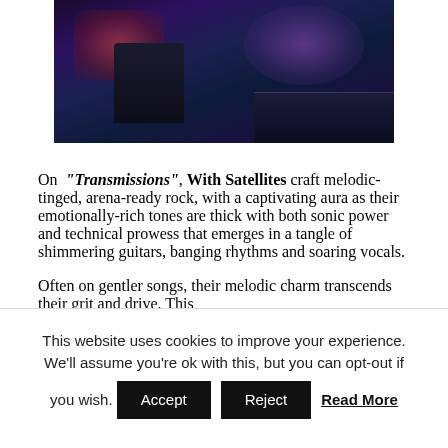[Figure (photo): Dark purple/blue-lit photograph of what appears to be a music studio or stage setup with equipment, chairs, and ambient colored lighting]
On "Transmissions", With Satellites craft melodic-tinged, arena-ready rock, with a captivating aura as their emotionally-rich tones are thick with both sonic power and technical prowess that emerges in a tangle of shimmering guitars, banging rhythms and soaring vocals.
Often on gentler songs, their melodic charm transcends their grit and drive. This
This website uses cookies to improve your experience. We'll assume you're ok with this, but you can opt-out if you wish. Accept Reject Read More